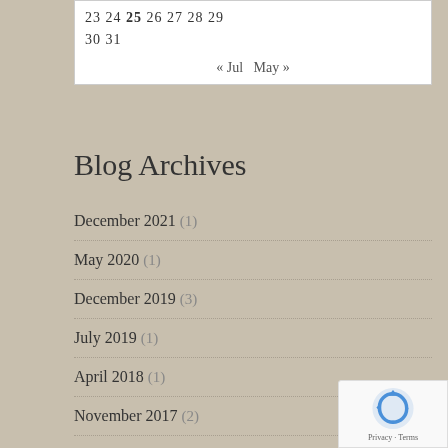| 23 | 24 | 25 | 26 | 27 | 28 | 29 |
| 30 | 31 |  |  |  |  |  |
| « Jul | May » |
Blog Archives
December 2021 (1)
May 2020 (1)
December 2019 (3)
July 2019 (1)
April 2018 (1)
November 2017 (2)
October 2017 (2)
September 2017 (3)
June 2017 (1)
November 2016 (2)
October 2016 (4)